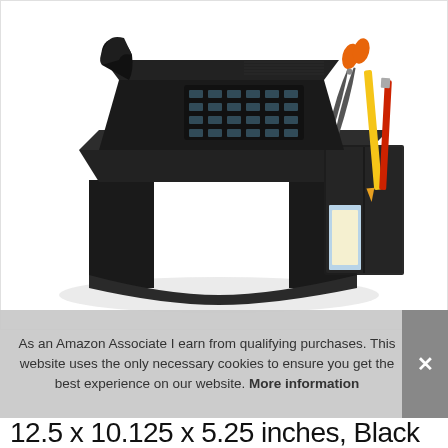[Figure (photo): A black desk telephone stand/organizer with a phone placed on the elevated platform, scissors, pencils, and pens in a side compartment, and papers/notepad in another compartment. The stand is made of black plastic and has an open arch design at the front.]
As an Amazon Associate I earn from qualifying purchases. This website uses the only necessary cookies to ensure you get the best experience on our website. More information
12.5 x 10.125 x 5.25 inches, Black